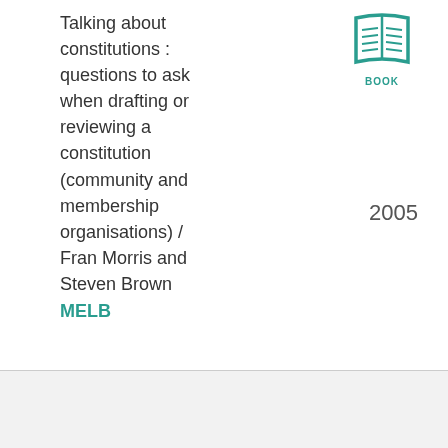Talking about constitutions : questions to ask when drafting or reviewing a constitution (community and membership organisations) / Fran Morris and Steven Brown
[Figure (illustration): Book icon — open book with lines, teal/green color, with label 'BOOK' below]
2005
MELB
KN 169.4 K1 Sie/Ali
: Associations legislation in Australia and New Zealand / A.S.